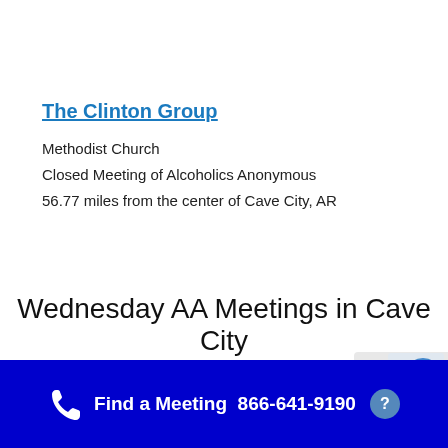The Clinton Group
Methodist Church
Closed Meeting of Alcoholics Anonymous
56.77 miles from the center of Cave City, AR
Wednesday AA Meetings in Cave City
Find a Meeting  866-641-9190